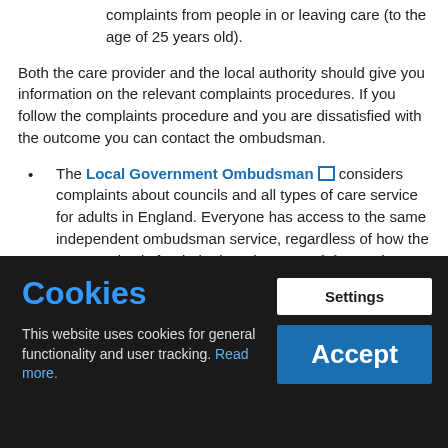complaints from people in or leaving care (to the age of 25 years old).
Both the care provider and the local authority should give you information on the relevant complaints procedures. If you follow the complaints procedure and you are dissatisfied with the outcome you can contact the ombudsman.
The Local Government Ombudsman considers complaints about councils and all types of care service for adults in England. Everyone has access to the same independent ombudsman service, regardless of how the care service is funded. There is a complaints scheme for self-funders (people paying for their own care and whose care is not...
Cookies
This website uses cookies for general functionality and user tracking. Read more.